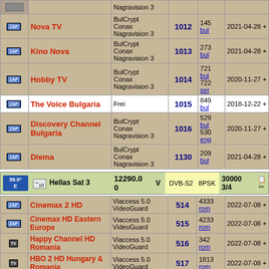|  | Channel | Encryption | SID | Audio | Date |
| --- | --- | --- | --- | --- | --- |
| ZAP | Nova TV | BulCrypt
Conax
Nagravision 3 | 1012 | 145 bul | 2021-04-28 + |
| ZAP | Kino Nova | BulCrypt
Conax
Nagravision 3 | 1013 | 273 bul | 2021-04-28 + |
| ZAP | Hobby TV | BulCrypt
Conax
Nagravision 3 | 1014 | 721 bul 722 ser | 2020-11-27 + |
| ZAP | The Voice Bulgaria | Frei | 1015 | 849 bul | 2018-12-22 + |
| ZAP | Discovery Channel Bulgaria | BulCrypt
Conax
Nagravision 3 | 1016 | 529 bul 530 eng | 2020-11-27 + |
| ZAP | Diema | BulCrypt
Conax
Nagravision 3 | 1130 | 209 bul | 2021-04-28 + |
| Sat Position | Satellite | Frequency | Pol | System/Modulation | SR/FEC | Edit |
| --- | --- | --- | --- | --- | --- | --- |
| 39.0° E | - 10 Hellas Sat 3 | 12290.0 0 | V | DVB-S2  8PSK | 30000 3/4 |  |
|  | Channel | Encryption | SID | Audio | Date |
| --- | --- | --- | --- | --- | --- |
| ZAP | Cinemax 2 HD | Viaccess 5.0
VideoGuard | 514 | 4333 rom | 2022-07-08 + |
| ZAP | Cinemax HD Eastern Europe | Viaccess 5.0
VideoGuard | 515 | 4233 rom | 2022-07-08 + |
| TV | Happy Channel HD Romania | Viaccess 5.0
VideoGuard | 516 | 342 rom | 2022-07-08 + |
| TV | HBO 2 HD Hungary & Romania | Viaccess 5.0
VideoGuard | 517 | 1813 rom | 2022-07-08 + |
| TV | (partial) | Viaccess 5.0 |  | 1900 |  |